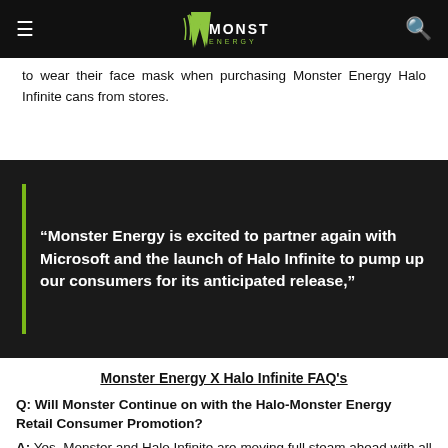Monster Energy (nav bar with logo, hamburger menu, search icon)
to wear their face mask when purchasing Monster Energy Halo Infinite cans from stores.
“Monster Energy is excited to partner again with Microsoft and the launch of Halo Infinite to pump up our consumers for its anticipated release,”
Monster Energy X Halo Infinite FAQ's
Q: Will Monster Continue on with the Halo-Monster Energy Retail Consumer Promotion?
A: Yes, Monster and Halo Infinite are moving full steam ahead with all